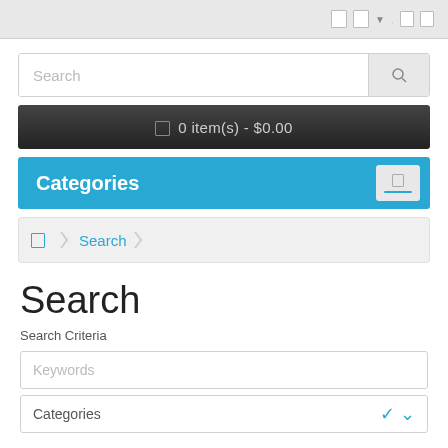Search
0 item(s) - $0.00
Categories
Search
Search
Search Criteria
Keywords
Categories